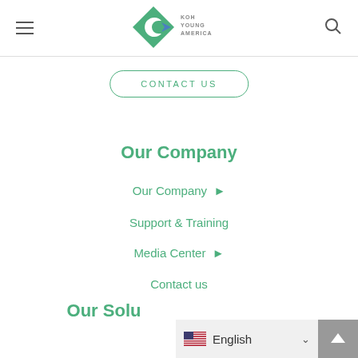[Figure (logo): Koh Young America logo — green diamond with blue/white arrow mark, text KOH YOUNG AMERICA]
CONTACT US
Our Company
Our Company ▶
Support & Training
Media Center ▶
Contact us
Our Solu…
English